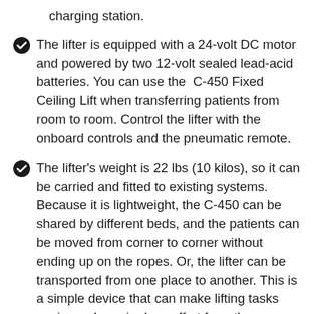charging station.
The lifter is equipped with a 24-volt DC motor and powered by two 12-volt sealed lead-acid batteries. You can use the C-450 Fixed Ceiling Lift when transferring patients from room to room. Control the lifter with the onboard controls and the pneumatic remote.
The lifter's weight is 22 lbs (10 kilos), so it can be carried and fitted to existing systems. Because it is lightweight, the C-450 can be shared by different beds, and the patients can be moved from corner to corner without ending up on the ropes. Or, the lifter can be transported from one place to another. This is a simple device that can make lifting tasks easier and require less effort from the